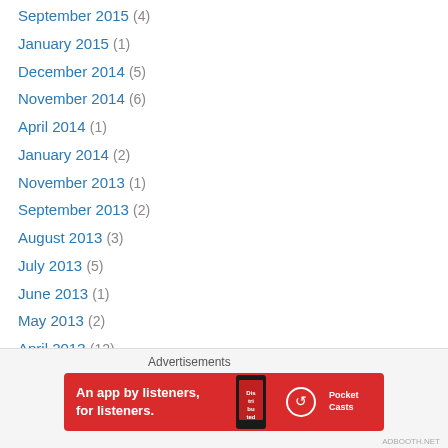September 2015 (4)
January 2015 (1)
December 2014 (5)
November 2014 (6)
April 2014 (1)
January 2014 (2)
November 2013 (1)
September 2013 (2)
August 2013 (3)
July 2013 (5)
June 2013 (1)
May 2013 (2)
April 2013 (12)
March 2013 (8)
January 2013 (6)
December 2012 (11)
Advertisements
[Figure (other): Pocket Casts advertisement banner: An app by listeners, for listeners.]